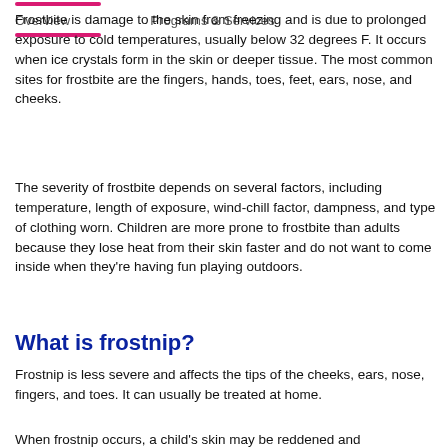Overview    Programs & Services
Frostbite is damage to the skin from freezing and is due to prolonged exposure to cold temperatures, usually below 32 degrees F. It occurs when ice crystals form in the skin or deeper tissue. The most common sites for frostbite are the fingers, hands, toes, feet, ears, nose, and cheeks.
The severity of frostbite depends on several factors, including temperature, length of exposure, wind-chill factor, dampness, and type of clothing worn. Children are more prone to frostbite than adults because they lose heat from their skin faster and do not want to come inside when they're having fun playing outdoors.
What is frostnip?
Frostnip is less severe and affects the tips of the cheeks, ears, nose, fingers, and toes. It can usually be treated at home.
When frostnip occurs, a child's skin may be reddened and